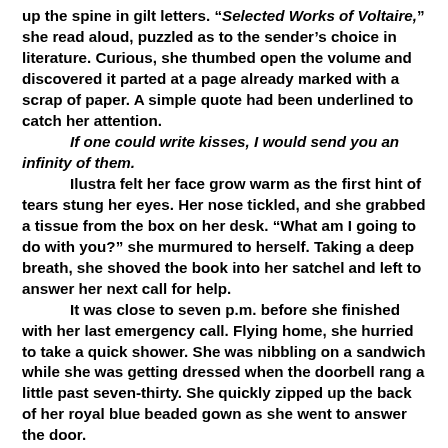up the spine in gilt letters. “Selected Works of Voltaire,” she read aloud, puzzled as to the sender’s choice in literature. Curious, she thumbed open the volume and discovered it parted at a page already marked with a scrap of paper. A simple quote had been underlined to catch her attention.
“If one could write kisses, I would send you an infinity of them.”
Ilustra felt her face grow warm as the first hint of tears stung her eyes. Her nose tickled, and she grabbed a tissue from the box on her desk. “What am I going to do with you?” she murmured to herself. Taking a deep breath, she shoved the book into her satchel and left to answer her next call for help.
It was close to seven p.m. before she finished with her last emergency call. Flying home, she hurried to take a quick shower. She was nibbling on a sandwich while she was getting dressed when the doorbell rang a little past seven-thirty. She quickly zipped up the back of her royal blue beaded gown as she went to answer the door.
“Who is it?”